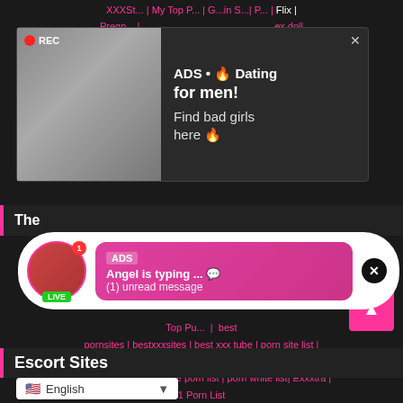XXXSt... | ...My Top P... | ...G... in S...| P... | Flix | Pregn... | ...ex doll porn | ...c sex video | ...c porn video | ...cks | Ebo... | ...UK |
[Figure (screenshot): Ad popup showing a woman taking a selfie with REC indicator. Text reads: ADS • Dating for men! Find bad girls here]
The...
[Figure (screenshot): Ad notification popup with avatar, LIVE badge, notification dot. Bubble reads: ADS Angel is typing ... (1) unread message]
Top Pu... | best pornsites | bestxxxsites | best xxx tube | porn site list | toppornsites | best adult tube sites | The Best Fetish Sites | Premium Porn Sites | the porn list | porn white list | Exxxtra | 1 Porn List
Escort Sites
English